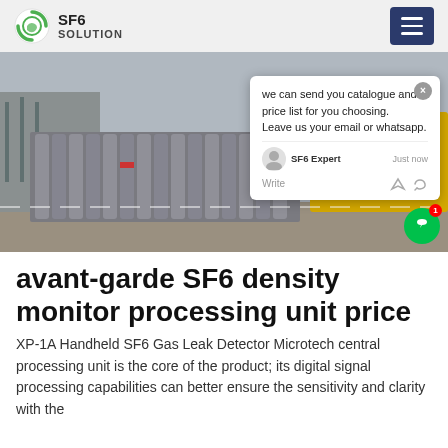SF6 SOLUTION
[Figure (photo): Industrial scene with many grey gas cylinders stacked on the ground near a yellow service truck, with power infrastructure in the background and a worker in a blue hard hat. A chat popup overlay is visible on the right side of the image.]
avant-garde SF6 density monitor processing unit price
XP-1A Handheld SF6 Gas Leak Detector Micro-tech central processing unit is the core of the product; its digital signal processing capabilities can better ensure the sensitivity and clarity with the